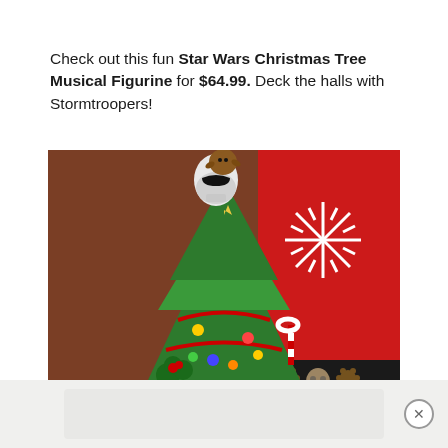Check out this fun Star Wars Christmas Tree Musical Figurine for $64.99. Deck the halls with Stormtroopers!
[Figure (photo): A Star Wars Christmas Tree Musical Figurine showing a decorated green Christmas tree with an Ewok holding a Stormtrooper helmet on top, in front of a red background with white snowflake decorations.]